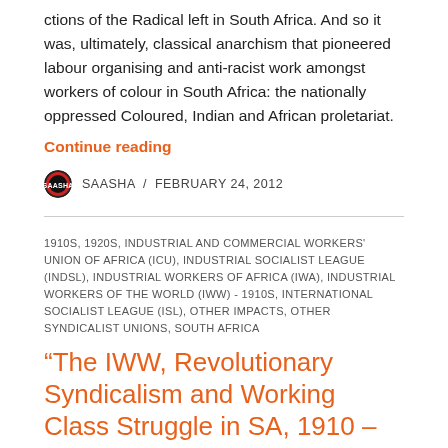ctions of the Radical left in South Africa. And so it was, ultimately, classical anarchism that pioneered labour organising and anti-racist work amongst workers of colour in South Africa: the nationally oppressed Coloured, Indian and African proletariat.
Continue reading
SAASHA / FEBRUARY 24, 2012
1910S, 1920S, INDUSTRIAL AND COMMERCIAL WORKERS' UNION OF AFRICA (ICU), INDUSTRIAL SOCIALIST LEAGUE (INDSL), INDUSTRIAL WORKERS OF AFRICA (IWA), INDUSTRIAL WORKERS OF THE WORLD (IWW) - 1910S, INTERNATIONAL SOCIALIST LEAGUE (ISL), OTHER IMPACTS, OTHER SYNDICALIST UNIONS, SOUTH AFRICA
“The IWW, Revolutionary Syndicalism and Working Class Struggle in SA, 1910 – 1920” –